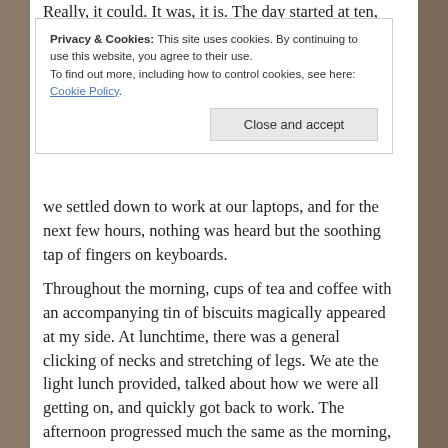Really, it could. It was, it is. The day started at ten, and the first…
Privacy & Cookies: This site uses cookies. By continuing to use this website, you agree to their use.
To find out more, including how to control cookies, see here: Cookie Policy
Close and accept
we settled down to work at our laptops, and for the next few hours, nothing was heard but the soothing tap of fingers on keyboards.
Throughout the morning, cups of tea and coffee with an accompanying tin of biscuits magically appeared at my side. At lunchtime, there was a general clicking of necks and stretching of legs. We ate the light lunch provided, talked about how we were all getting on, and quickly got back to work. The afternoon progressed much the same as the morning, only perhaps with a renewed intensity as everyone seemed aware of the time running out.
The retreat was due to finish at five, and as the time approached the clattering of the keys got louder and faster as we all tried desperately to get just that little bit further before we had to leave. By the end of the day, I had got more work done than on any